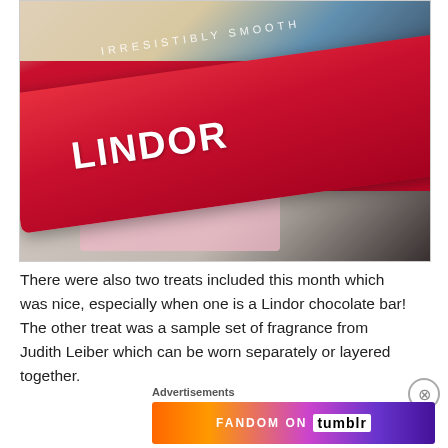[Figure (photo): Close-up photo of a red Lindt Lindor chocolate bar with 'IRRESISTIBLY SMOOTH' text on the wrapper, displayed in a pink box with other beauty products in the background]
There were also two treats included this month which was nice, especially when one is a Lindor chocolate bar! The other treat was a sample set of fragrance from Judith Leiber which can be worn separately or layered together.
Advertisements
[Figure (infographic): Fandom on Tumblr advertisement banner with colorful gradient background]